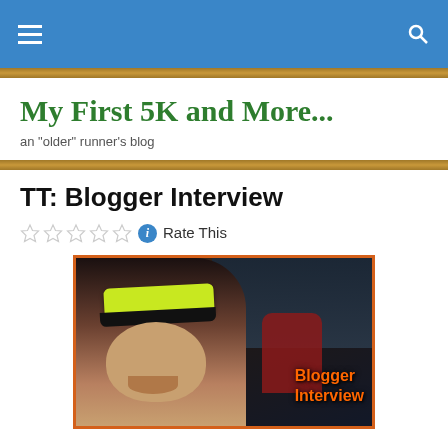Navigation bar with hamburger menu and search icon
My First 5K and More...
an "older" runner's blog
TT: Blogger Interview
Rate This
[Figure (photo): Blog post header image showing a woman in a yellow visor at a running event with text overlay reading 'Blogger Interview']